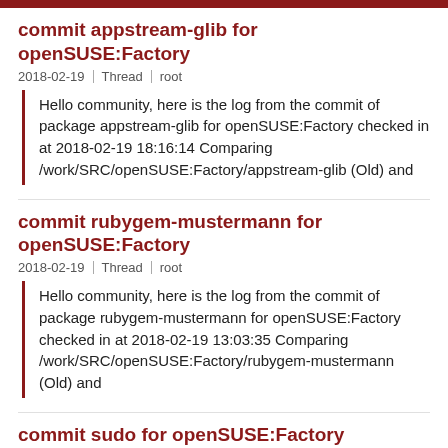commit appstream-glib for openSUSE:Factory
2018-02-19 | Thread | root
Hello community, here is the log from the commit of package appstream-glib for openSUSE:Factory checked in at 2018-02-19 18:16:14 Comparing /work/SRC/openSUSE:Factory/appstream-glib (Old) and
commit rubygem-mustermann for openSUSE:Factory
2018-02-19 | Thread | root
Hello community, here is the log from the commit of package rubygem-mustermann for openSUSE:Factory checked in at 2018-02-19 13:03:35 Comparing /work/SRC/openSUSE:Factory/rubygem-mustermann (Old) and
commit sudo for openSUSE:Factory
2018-02-19 | Thread | root
Hello community, here is the log from the commit of package sudo for openSUSE:Factory checked in at 2018-02-19 13:03:47 Comparing /work/SRC/openSUSE:Factory/sudo